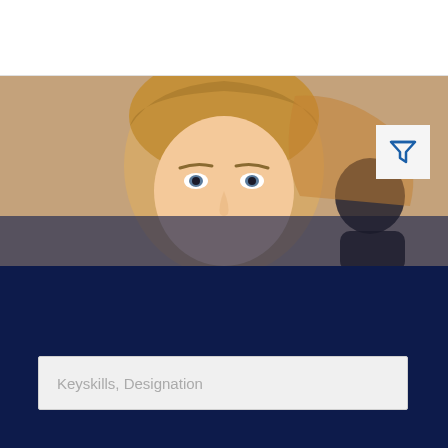[Figure (logo): ACZ Global logo with two stylized human figures in blue and the text 'ACZ Global' with registered trademark symbol]
[Figure (photo): Close-up of a woman with long blonde hair looking directly at the camera, office background, slightly overlaid with dark navy tint at bottom]
[Figure (other): White square button with a blue funnel/filter icon]
Keyskills, Designation